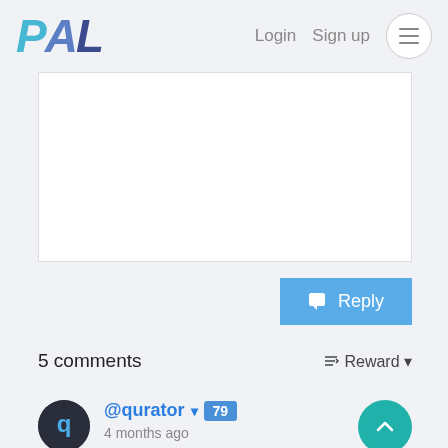PAL  Login  Sign up
[Figure (screenshot): White text input/textarea box for composing a reply]
Reply
5 comments
Reward
@qurator 79 4 months ago
Manually curated by brumest from the @qurator Team. Keep up the good work!